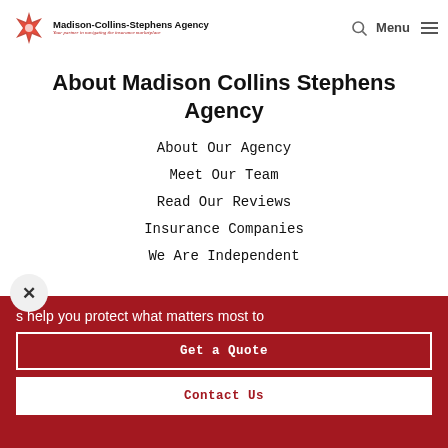[Figure (logo): Madison-Collins-Stephens Agency logo with red starburst icon and tagline 'Your partner in navigating the insurance marketplace']
About Madison Collins Stephens Agency
About Our Agency
Meet Our Team
Read Our Reviews
Insurance Companies
We Are Independent
s help you protect what matters most to
Get a Quote
Contact Us